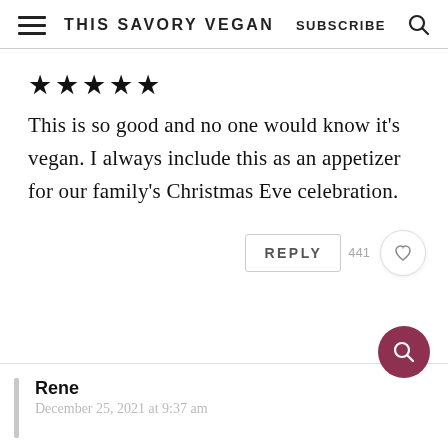THIS SAVORY VEGAN  SUBSCRIBE
★★★★★
This is so good and no one would know it's vegan. I always include this as an appetizer for our family's Christmas Eve celebration.
REPLY 441
Rene
December 25, 2021 at 9:37 am